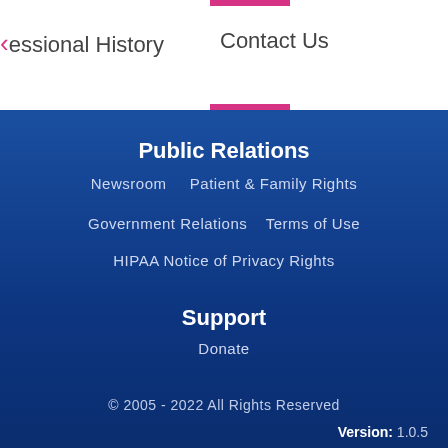essional History   Contact Us
Public Relations
Newsroom   Patient & Family Rights
Government Relations   Terms of Use
HIPAA Notice of Privacy Rights
Support
Donate
© 2005 - 2022 All Rights Reserved
Version: 1.0.5